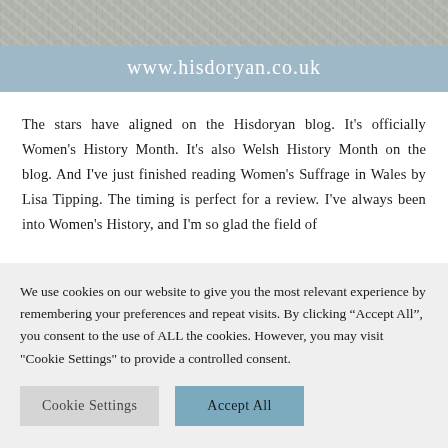[Figure (photo): Textured fabric/lace background image in grey tones at top of page]
www.hisdoryan.co.uk
The stars have aligned on the Hisdoryan blog. It's officially Women's History Month. It's also Welsh History Month on the blog. And I've just finished reading Women's Suffrage in Wales by Lisa Tipping. The timing is perfect for a review. I've always been into Women's History, and I'm so glad the field of
We use cookies on our website to give you the most relevant experience by remembering your preferences and repeat visits. By clicking “Accept All”, you consent to the use of ALL the cookies. However, you may visit "Cookie Settings" to provide a controlled consent.